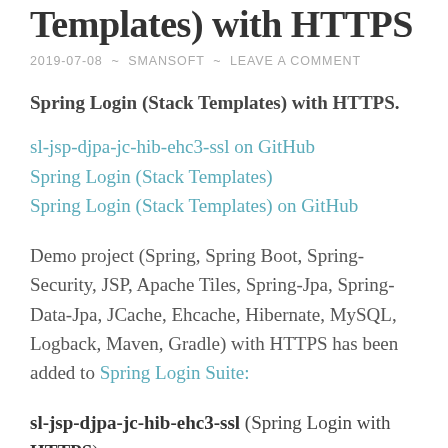Templates) with HTTPS
2019-07-08 ~ SMANSOFT ~ LEAVE A COMMENT
Spring Login (Stack Templates) with HTTPS.
sl-jsp-djpa-jc-hib-ehc3-ssl on GitHub
Spring Login (Stack Templates)
Spring Login (Stack Templates) on GitHub
Demo project (Spring, Spring Boot, Spring-Security, JSP, Apache Tiles, Spring-Jpa, Spring-Data-Jpa, JCache, Ehcache, Hibernate, MySQL, Logback, Maven, Gradle) with HTTPS has been added to Spring Login Suite:
sl-jsp-djpa-jc-hib-ehc3-ssl (Spring Login with HTTPS)